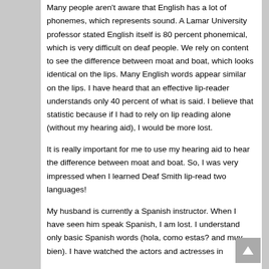Many people aren't aware that English has a lot of phonemes, which represents sound. A Lamar University professor stated English itself is 80 percent phonemical, which is very difficult on deaf people. We rely on content to see the difference between moat and boat, which looks identical on the lips. Many English words appear similar on the lips. I have heard that an effective lip-reader understands only 40 percent of what is said. I believe that statistic because if I had to rely on lip reading alone (without my hearing aid), I would be more lost.
It is really important for me to use my hearing aid to hear the difference between moat and boat. So, I was very impressed when I learned Deaf Smith lip-read two languages!
My husband is currently a Spanish instructor. When I have seen him speak Spanish, I am lost. I understand only basic Spanish words (hola, como estas? and muy bien). I have watched the actors and actresses in